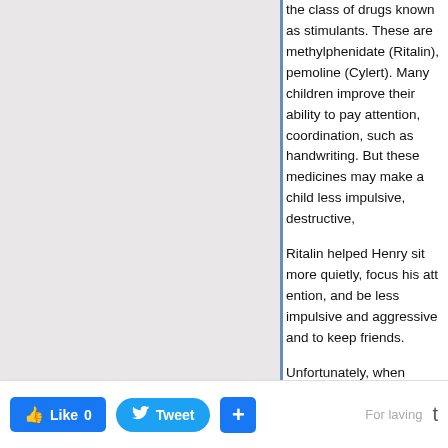the class of drugs known as stimulants. These are methylphenidate (Ritalin), pemoline (Cylert). Many children improve their ability to pay attention, coordination, such as handwriting. But these medicines may make a child less impulsive, destructive,
Ritalin helped Henry sit more quietly, focus his attention, and be less impulsive and aggressive and to keep friends.
Unfortunately, when medicine is all that's needed. But it does relieve symptoms. Although medicines can't increase knowledge or make better about themselves without support.
Like 0   Tweet   +   For laving   t